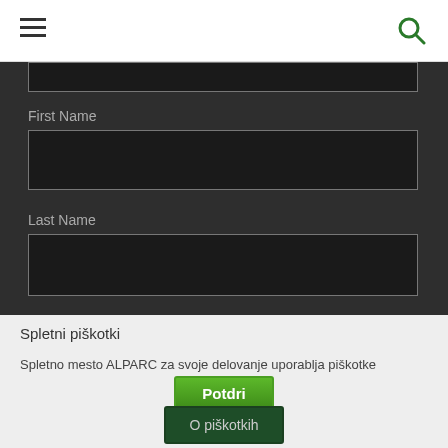[Figure (screenshot): Navigation bar with hamburger menu icon on the left and green search icon on the right]
First Name
Last Name
Spletni piškotki
Spletno mesto ALPARC za svoje delovanje uporablja piškotke
Potdri
O piškotkih